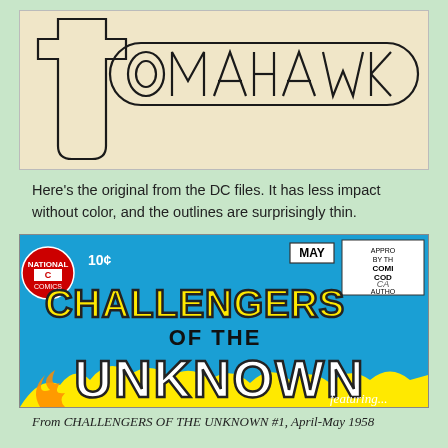[Figure (illustration): Original Tomahawk logo artwork from DC files — black outline lettering on cream/tan background, no color fill, showing 'TOMAHAWK' in large outlined letters with thin strokes]
Here's the original from the DC files. It has less impact without color, and the outlines are surprisingly thin.
[Figure (photo): Comic book cover section from Challengers of the Unknown #1, April-May 1958, showing yellow and white lettering 'CHALLENGERS OF THE UNKNOWN' on a bright blue background with Comic Code Authority stamp, price 10¢]
From CHALLENGERS OF THE UNKNOWN #1, April-May 1958